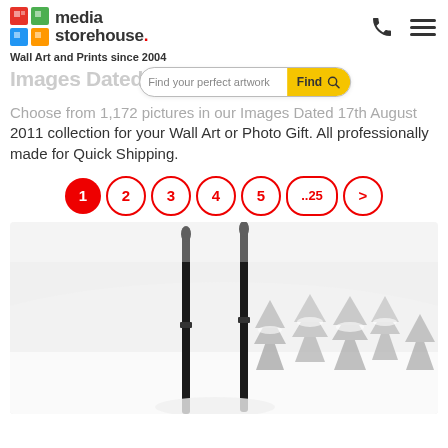[Figure (logo): Media Storehouse logo with colorful grid icon and text]
Wall Art and Prints since 2004
Images Dated 17th August 2011
Choose from 1,172 pictures in our Images Dated 17th August 2011 collection for your Wall Art or Photo Gift. All professionally made for Quick Shipping.
[Figure (screenshot): Search bar with placeholder 'Find your perfect artwork' and yellow Find button]
1
2
3
4
5
..25
>
[Figure (photo): Black and white photo of two skis standing upright in deep snow with snow-covered pine trees in the background]